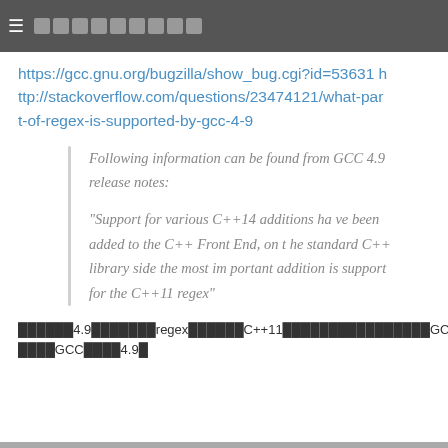≡ ██████████
https://gcc.gnu.org/bugzilla/show_bug.cgi?id=53631 http://stackoverflow.com/questions/23474121/what-part-of-regex-is-supported-by-gcc-4-9
Following information can be found from GCC 4.9 release notes:

"Support for various C++14 additions have been added to the C++ Front End, on the standard C++ library side the most important addition is support for the C++11 regex"
██████4.9███████regex██████C++11████████████████GCC████████GCC████4.9█